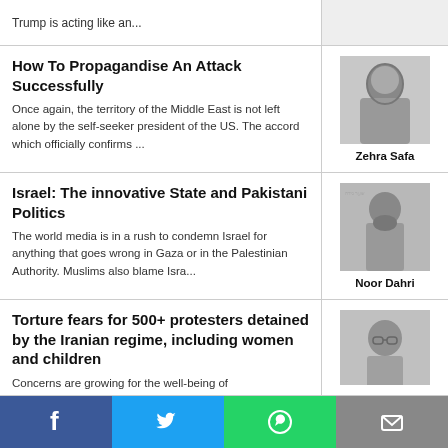Trump is acting like an...
How To Propagandise An Attack Successfully
Once again, the territory of the Middle East is not left alone by the self-seeker president of the US. The accord which officially confirms ...
[Figure (photo): Black and white photo of Zehra Safa, a woman wearing a hijab]
Zehra Safa
Israel: The innovative State and Pakistani Politics
The world media is in a rush to condemn Israel for anything that goes wrong in Gaza or in the Palestinian Authority. Muslims also blame Isra...
[Figure (photo): Black and white photo of Noor Dahri, a man with a beard in a suit]
Noor Dahri
Torture fears for 500+ protesters detained by the Iranian regime, including women and children
Concerns are growing for the well-being of